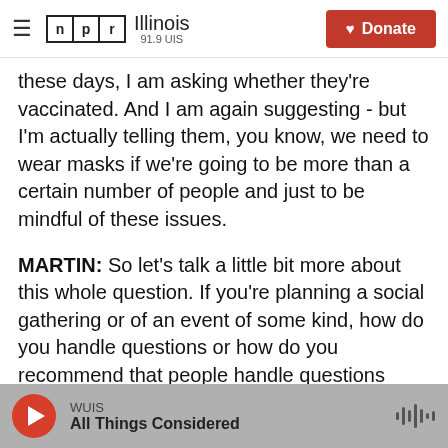NPR Illinois 91.9 UIS | Donate
these days, I am asking whether they're vaccinated. And I am again suggesting - but I'm actually telling them, you know, we need to wear masks if we're going to be more than a certain number of people and just to be mindful of these issues.
MARTIN: So let's talk a little bit more about this whole question. If you're planning a social gathering or of an event of some kind, how do you handle questions or how do you recommend that people handle questions about people's vaccination status? Like, does that change depending on what
WUIS | All Things Considered